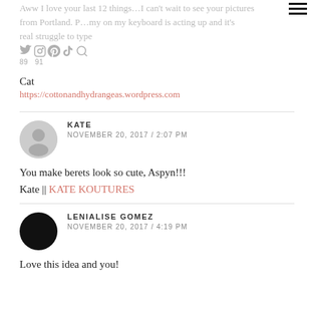Aww I love your last 12 things…I can't wait to see your pictures from Portland. P…my on my keyboard is acting up and it's real struggle to type
Cat
https://cottonandhydrangeas.wordpress.com
KATE
NOVEMBER 20, 2017 / 2:07 PM
You make berets look so cute, Aspyn!!!
Kate || KATE KOUTURES
LENIALISE GOMEZ
NOVEMBER 20, 2017 / 4:19 PM
Love this idea and you!